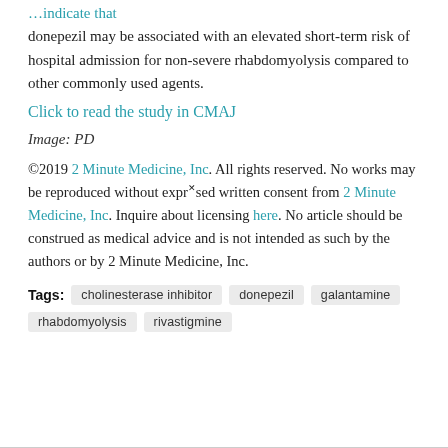…indicate that donepezil may be associated with an elevated short-term risk of hospital admission for non-severe rhabdomyolysis compared to other commonly used agents.
Click to read the study in CMAJ
Image: PD
©2019 2 Minute Medicine, Inc. All rights reserved. No works may be reproduced without expressed written consent from 2 Minute Medicine, Inc. Inquire about licensing here. No article should be construed as medical advice and is not intended as such by the authors or by 2 Minute Medicine, Inc.
Tags: cholinesterase inhibitor  donepezil  galantamine  rhabdomyolysis  rivastigmine